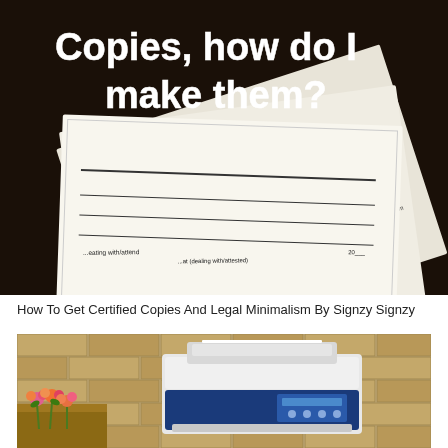[Figure (photo): Photo of official legal document certificates fanned out on a dark wooden surface, with bold white text overlay reading 'Copies, how do I make them?']
How To Get Certified Copies And Legal Minimalism By Signzy Signzy
[Figure (photo): Photo of a white multifunction printer/copier on a wooden shelf against a brick wall, with flowers visible at the lower left.]